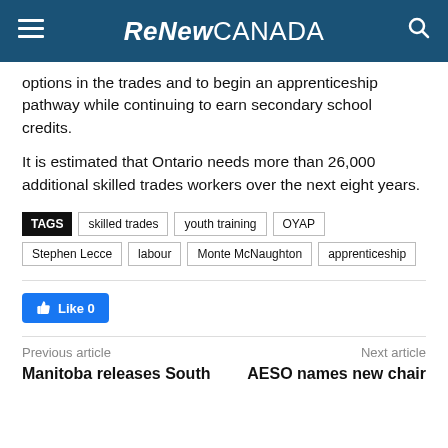ReNew CANADA
options in the trades and to begin an apprenticeship pathway while continuing to earn secondary school credits.
It is estimated that Ontario needs more than 26,000 additional skilled trades workers over the next eight years.
TAGS: skilled trades, youth training, OYAP, Stephen Lecce, labour, Monte McNaughton, apprenticeship
[Figure (other): Facebook Like button showing Like 0]
Previous article — Manitoba releases South | Next article — AESO names new chair